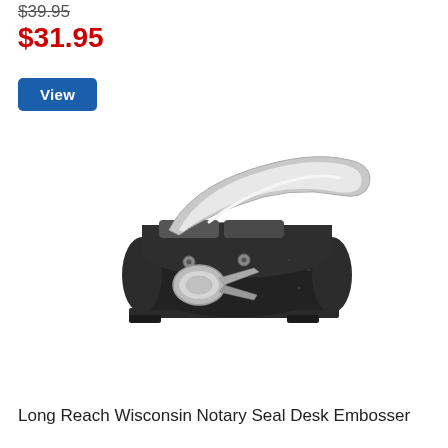$39.95
$31.95
View
[Figure (photo): A black and chrome long reach notary seal desk embosser tool photographed on a white background, showing the heavy-duty metal body, handle, and circular die mechanism.]
Long Reach Wisconsin Notary Seal Desk Embosser